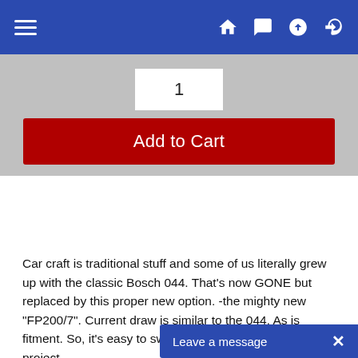Navigation bar with menu, home, message, upload, and login icons
1
Add to Cart
Car craft is traditional stuff and some of us literally grew up with the classic Bosch 044. That's now GONE but replaced by this proper new option. -the mighty new "FP200/7". Current draw is similar to the 044. As is fitment. So, it's easy to switch to or start with in a new project.
The Bosch FP200/7 fuel pumps can deliver more than 300 liters per hour. It's also now compatible with Diesel and alcohol-based fu...
Leave a message